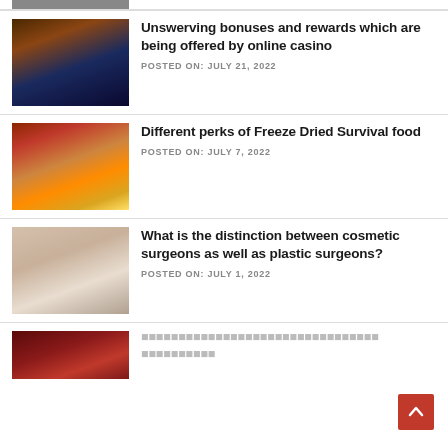[Figure (photo): Partial image at top of page (cropped)]
Unswerving bonuses and rewards which are being offered by online casino
POSTED ON: JULY 21, 2022
[Figure (photo): Roulette wheel with casino chips]
Different perks of Freeze Dried Survival food
POSTED ON: JULY 7, 2022
[Figure (photo): Glass jars with freeze-dried fruits and vegetables]
What is the distinction between cosmetic surgeons as well as plastic surgeons?
POSTED ON: JULY 1, 2022
[Figure (photo): Woman with cosmetic surgery markings on face]
Lorem ipsum placeholder title text
[Figure (photo): Partial image at bottom of page (cropped)]